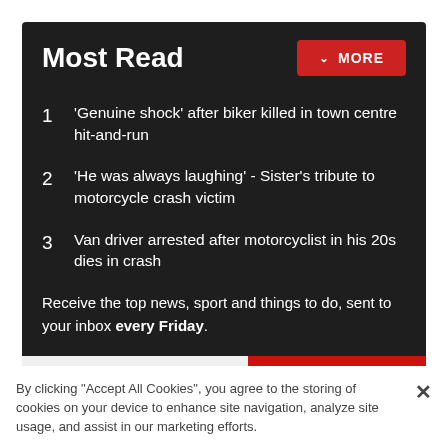Most Read
'Genuine shock' after biker killed in town centre hit-and-run
'He was always laughing' - Sister's tribute to motorcycle crash victim
Van driver arrested after motorcyclist in his 20s dies in crash
Receive the top news, sport and things to do, sent to your inbox every Friday.
Email address
SUBSCRIBE
By clicking "Accept All Cookies", you agree to the storing of cookies on your device to enhance site navigation, analyze site usage, and assist in our marketing efforts.